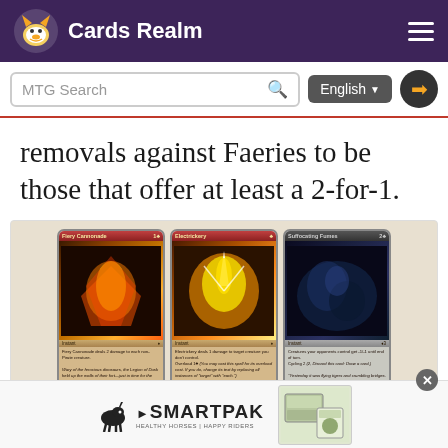Cards Realm
removals against Faeries to be those that offer at least a 2-for-1.
[Figure (illustration): Three Magic: The Gathering cards displayed side by side: Fiery Cannonade, Electrickery, and Suffocating Fumes]
[Figure (logo): SmartPak advertisement banner with horse logo and product image]